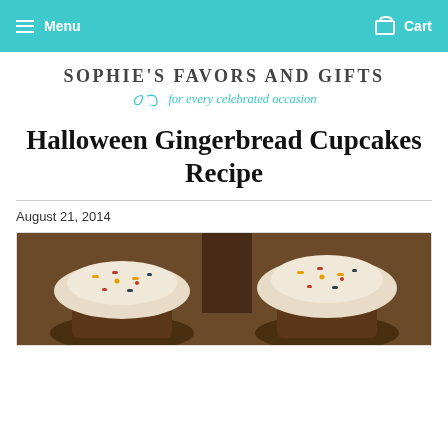Menu   Cart
[Figure (logo): Sophie's Favors and Gifts logo with tagline 'for every celebrated occasion']
Halloween Gingerbread Cupcakes Recipe
August 21, 2014
[Figure (photo): Close-up photo of Halloween gingerbread cupcakes with white frosting and colorful candy sprinkles on top]